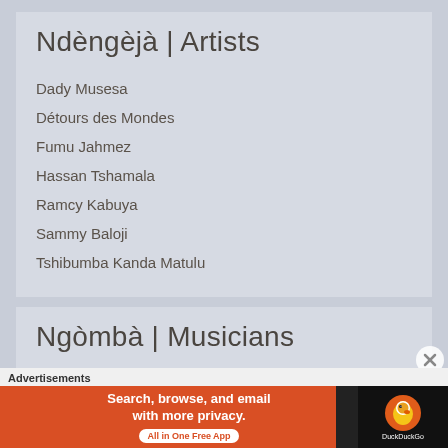Ndèngèjà | Artists
Dady Musesa
Détours des Mondes
Fumu Jahmez
Hassan Tshamala
Ramcy Kabuya
Sammy Baloji
Tshibumba Kanda Matulu
Ngòmbà | Musicians
Baloji
Advertisements
[Figure (screenshot): DuckDuckGo advertisement banner: 'Search, browse, and email with more privacy. All in One Free App' with DuckDuckGo logo on dark right panel]